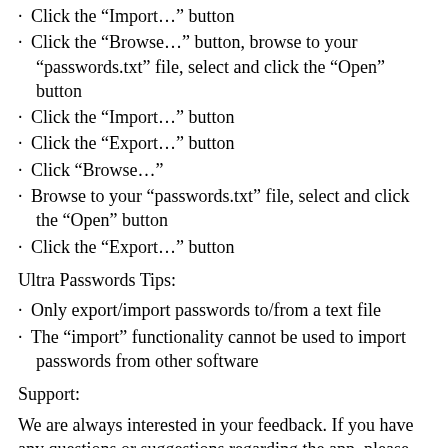Click the “Import…” button
Click the “Browse…” button, browse to your “passwords.txt” file, select and click the “Open” button
Click the “Import…” button
Click the “Export…” button
Click “Browse…”
Browse to your “passwords.txt” file, select and click the “Open” button
Click the “Export…” button
Ultra Passwords Tips:
Only export/import passwords to/from a text file
The “import” functionality cannot be used to import passwords from other software
Support:
We are always interested in your feedback. If you have any questions or suggestions regarding the app, please